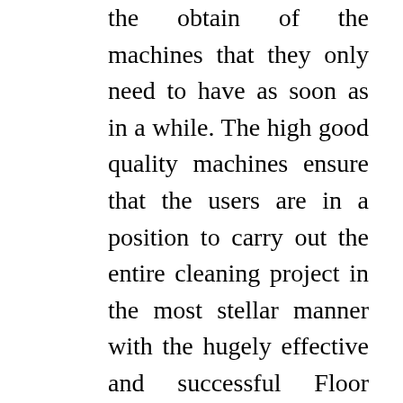the obtain of the machines that they only need to have as soon as in a while. The high good quality machines ensure that the users are in a position to carry out the entire cleaning project in the most stellar manner with the hugely effective and successful Floor sander equipment on employ in London With the best buffers, edgers and polishers they are capable to come to terms with any type of cleaning with no significantly hassle. The machines are of a genuinely matchless top quality. You as well can go about the most tough cleaning assignments without having any hassle.